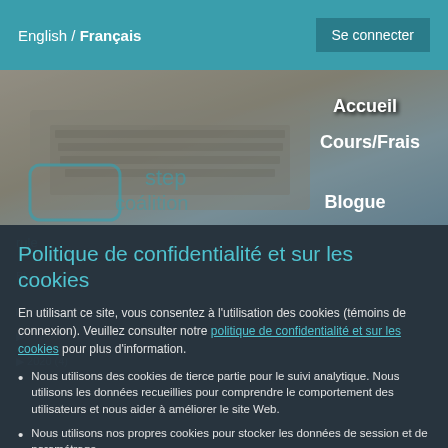English / Français   Se connecter
[Figure (screenshot): Hero banner image showing hands typing on a laptop keyboard, with navigation links Accueil, Cours/Frais, Blogue overlaid]
Politique de confidentialité et sur les cookies
En utilisant ce site, vous consentez à l'utilisation des cookies (témoins de connexion). Veuillez consulter notre politique de confidentialité et sur les cookies pour plus d'information.
Nous utilisons des cookies de tierce partie pour le suivi analytique. Nous utilisons les données recueillies pour comprendre le comportement des utilisateurs et nous aider à améliorer le site Web.
Nous utilisons nos propres cookies pour stocker les données de session et de paramétrage.
Close